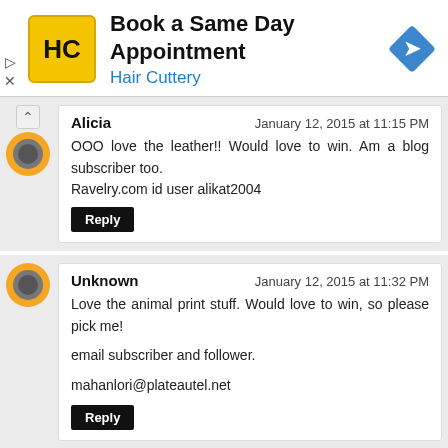[Figure (other): Hair Cuttery advertisement banner with HC logo and blue diamond navigation icon. Text: 'Book a Same Day Appointment' / 'Hair Cuttery']
Alicia
January 12, 2015 at 11:15 PM
OOO love the leather!! Would love to win. Am a blog subscriber too.
Ravelry.com id user alikat2004
Reply
Unknown
January 12, 2015 at 11:32 PM
Love the animal print stuff. Would love to win, so please pick me!

email subscriber and follower.

mahanlori@plateautel.net
Reply